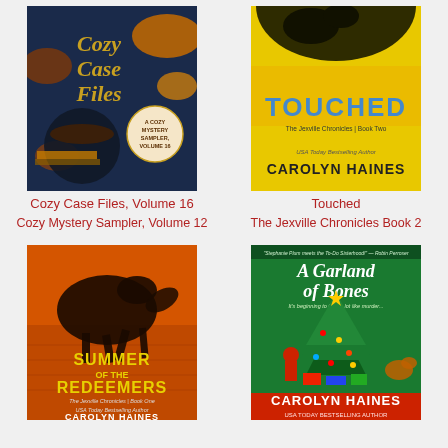[Figure (illustration): Book cover: Cozy Case Files - A Cozy Mystery Sampler, Volume 16. Dark blue background with autumn leaves, coffee cup, and books. Gold stylized text.]
[Figure (illustration): Book cover: Touched - The Jexville Chronicles Book 2 by Carolyn Haines. Yellow background with dark bird silhouette. Blue bold title text.]
Cozy Case Files, Volume 16
Cozy Mystery Sampler, Volume 12
Touched
The Jexville Chronicles Book 2
[Figure (illustration): Book cover: Summer of the Redeemers - The Jexville Chronicles Book 1 by Carolyn Haines. Orange background with horse silhouette running.]
[Figure (illustration): Book cover: A Garland of Bones - A Sarah Booth Delaney Mystery by Carolyn Haines. Green Christmas-themed cover with tree and woman in Santa costume.]